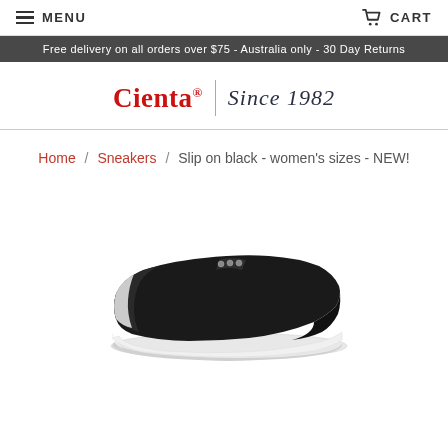MENU   CART
Free delivery on all orders over $75 - Australia only - 30 Day Returns
[Figure (logo): Cienta logo with registered trademark symbol and 'Since 1982' script text]
Home / Sneakers / Slip on black - women's sizes - NEW!
[Figure (photo): Black slip-on canvas sneaker with white sole, viewed from the side]